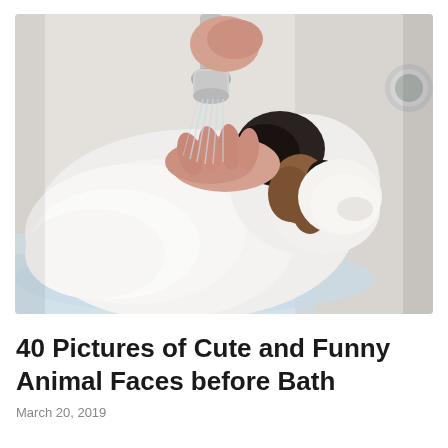[Figure (photo): A wet Jack Russell Terrier dog being bathed with a handheld shower head. A person's hands are visible holding the dog and the showerhead. The dog is standing in a white bathtub with water, looking toward the camera with a distinctive black and tan face marking.]
40 Pictures of Cute and Funny Animal Faces before Bath
March 20, 2019